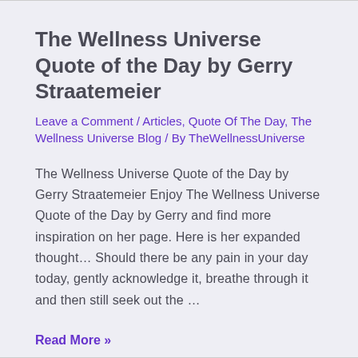The Wellness Universe Quote of the Day by Gerry Straatemeier
Leave a Comment / Articles, Quote Of The Day, The Wellness Universe Blog / By TheWellnessUniverse
The Wellness Universe Quote of the Day by Gerry Straatemeier Enjoy The Wellness Universe Quote of the Day by Gerry and find more inspiration on her page. Here is her expanded thought… Should there be any pain in your day today, gently acknowledge it, breathe through it and then still seek out the …
Read More »